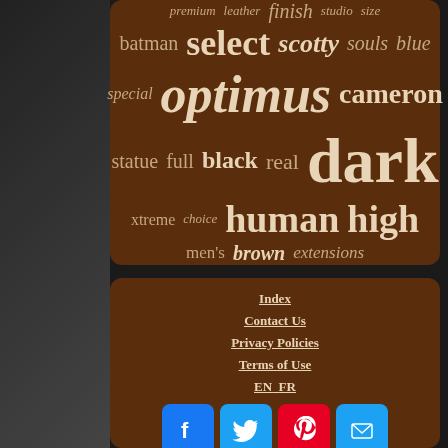[Figure (infographic): Tag cloud with words: premium, leather, finish, studio, size, batman, select, scotty, souls, blue, special, optimus, cameron, statue, full, black, real, dark, xtreme, choice, human, high, men's, brown, extensions — displayed in various sizes on a dark brown rounded rectangle background]
[Figure (infographic): Footer navigation panel on dark brown rounded rectangle with links: Index, Contact Us, Privacy Policies, Terms of Use, EN, FR, and social media icons for Facebook, Twitter, Pinterest, Email]